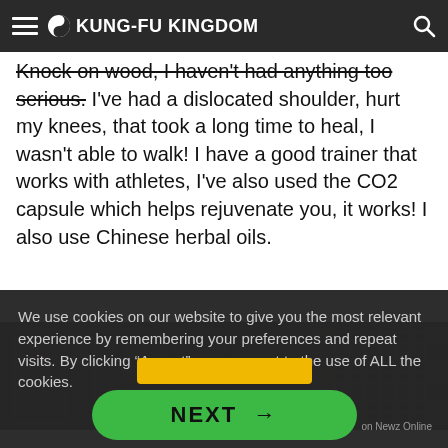KUNG-FU KINGDOM
Knock on wood, I haven't had anything too serious. I've had a dislocated shoulder, hurt my knees, that took a long time to heal, I wasn't able to walk! I have a good trainer that works with athletes, I've also used the CO2 capsule which helps rejuvenate you, it works! I also use Chinese herbal oils.
[Figure (photo): Partial view of a building exterior with wooden panels and a metal mesh fence, dimly lit scene]
We use cookies on our website to give you the most relevant experience by remembering your preferences and repeat visits. By clicking “Accept”, you consent to the use of ALL the cookies.